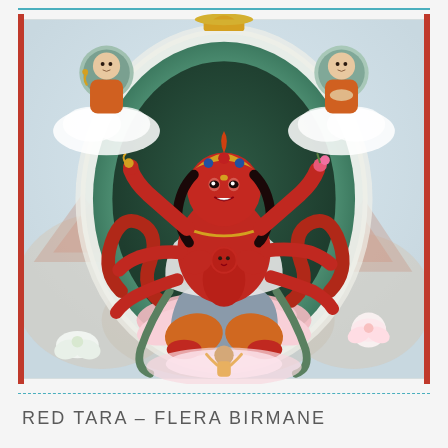[Figure (illustration): Tibetan Buddhist thangka painting of Red Tara (Kurukulle), a multi-armed red deity seated in a lotus position within an oval mandorla halo. She holds various ritual objects. In the upper corners are smaller depictions of Buddhist teachers or deities in orange robes seated on clouds. Background shows mountains and landscape in pale tones. The painting has characteristic Tibetan artistic style with red border strips on left and right.]
RED TARA – FLERA BIRMANE